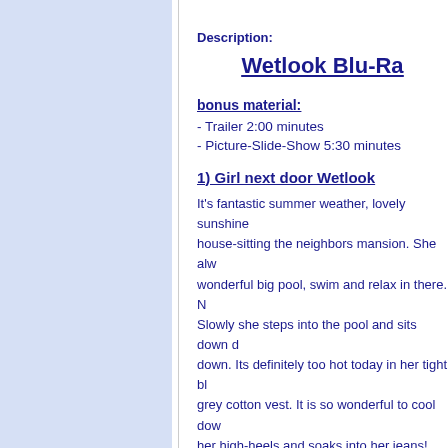Description:
Wetlook Blu-Ra
bonus material:
- Trailer 2:00 minutes
- Picture-Slide-Show 5:30 minutes
1) Girl next door Wetlook
It's fantastic summer weather, lovely sunshine house-sitting the neighbors mansion. She alw wonderful big pool, swim and relax in there. N Slowly she steps into the pool and sits down d down. Its definitely too hot today in her tight bl grey cotton vest. It is so wonderful to cool dow her high-heels and soaks into her jeans! The f cool on her skin, she loves it. She lies down o step and enjoys both the water and the sun!
Lisa rolls around on the shallow step and enjo deeper into the pool. She swims, jumps into th is with her all the time. With wonderful underw mational!